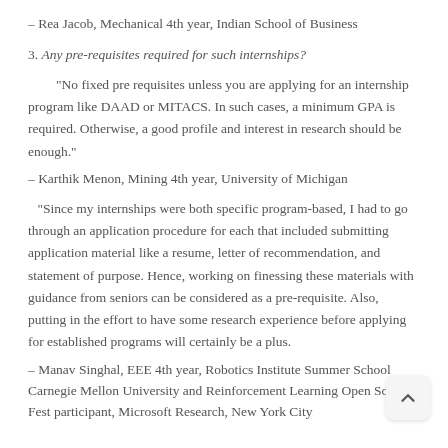– Rea Jacob, Mechanical 4th year, Indian School of Business
3. Any pre-requisites required for such internships?
“No fixed pre requisites unless you are applying for an internship program like DAAD or MITACS. In such cases, a minimum GPA is required. Otherwise, a good profile and interest in research should be enough.”
– Karthik Menon, Mining 4th year, University of Michigan
“Since my internships were both specific program-based, I had to go through an application procedure for each that included submitting application material like a resume, letter of recommendation, and statement of purpose. Hence, working on finessing these materials with guidance from seniors can be considered as a pre-requisite. Also, putting in the effort to have some research experience before applying for established programs will certainly be a plus.
– Manav Singhal, EEE 4th year, Robotics Institute Summer School Carnegie Mellon University and Reinforcement Learning Open Source Fest participant, Microsoft Research, New York City